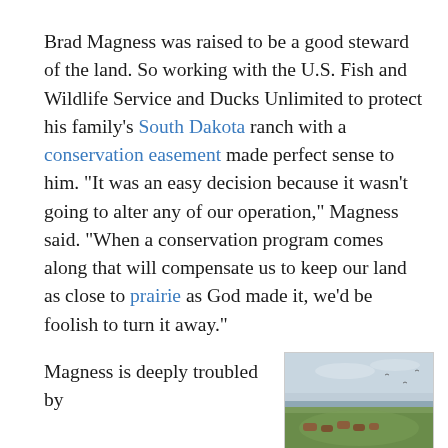Brad Magness was raised to be a good steward of the land. So working with the U.S. Fish and Wildlife Service and Ducks Unlimited to protect his family's South Dakota ranch with a conservation easement made perfect sense to him. "It was an easy decision because it wasn't going to alter any of our operation," Magness said. "When a conservation program comes along that will compensate us to keep our land as close to prairie as God made it, we'd be foolish to turn it away."
Magness is deeply troubled by
[Figure (photo): Outdoor photo of a prairie landscape with cattle grazing in a green field under an overcast sky, with a body of water visible in the background.]